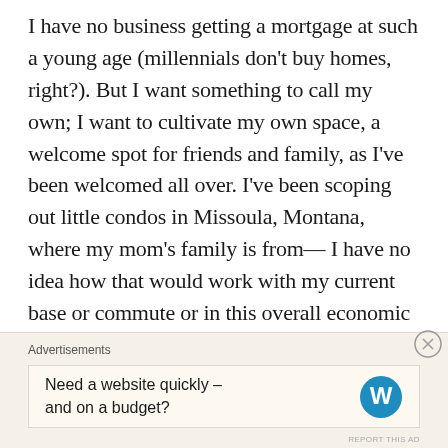I have no business getting a mortgage at such a young age (millennials don't buy homes, right?). But I want something to call my own; I want to cultivate my own space, a welcome spot for friends and family, as I've been welcomed all over. I've been scoping out little condos in Missoula, Montana, where my mom's family is from— I have no idea how that would work with my current base or commute or in this overall economic environment. I'd still continue the vagabond lifestyle, but at least I'd have a solid investment. It's but a dream at this point. But y'all know I make my dreams come true.
Advertisements
Need a website quickly – and on a budget?